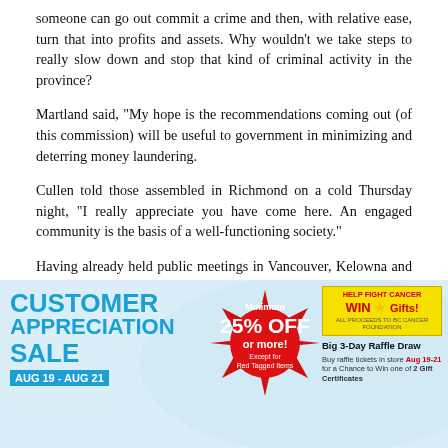someone can go out commit a crime and then, with relative ease, turn that into profits and assets. Why wouldn't we take steps to really slow down and stop that kind of criminal activity in the province?
Martland said, "My hope is the recommendations coming out (of this commission) will be useful to government in minimizing and deterring money laundering.
Cullen told those assembled in Richmond on a cold Thursday night, "I really appreciate you have come here. An engaged community is the basis of a well-functioning society."
Having already held public meetings in Vancouver, Kelowna and Victoria, the commission heads to Prince George Nov. 14. For more details and to see summaries of the previous public meetings, go to cullencommission.ca/public-meetings-information/
[Figure (infographic): Customer Appreciation Sale advertisement. AUG 19 - AUG 21. Minimum 25% OFF or more (Except for Red Tagged Items). Help Fight Cancer WIN Gifts! Big 3-Day Raffle Draw. Buy raffle tickets in store Aug 19-21 for a Chance to Win one of 2 Gift Certificates.]